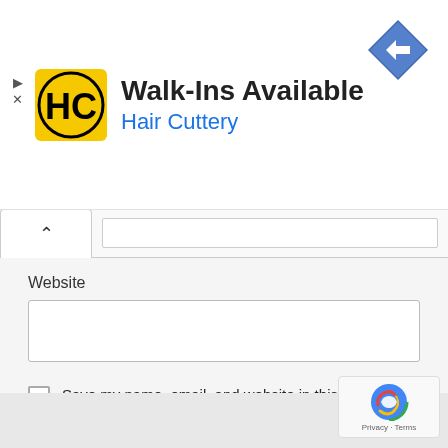[Figure (infographic): Hair Cuttery advertisement banner with HC logo, 'Walk-Ins Available' headline, 'Hair Cuttery' subtitle in blue, navigation arrow icon, play and close controls]
Website
[Figure (screenshot): Web form with Website text input, checkbox for 'Save my name, email, and website in this browser for the next time I comment.', POST COMMENT button, and reCAPTCHA badge]